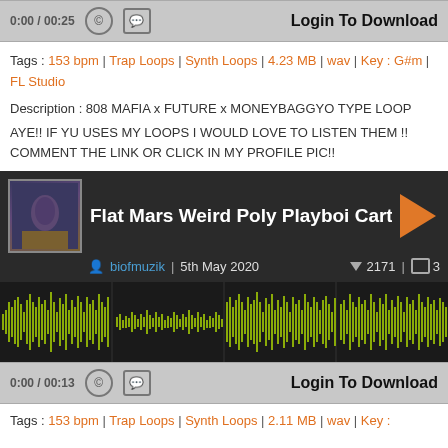[Figure (screenshot): Audio player top bar showing time 0:00 / 00:25, copyright icon, chat icon, and Login To Download button]
Tags : 153 bpm | Trap Loops | Synth Loops | 4.23 MB | wav | Key : G#m | FL Studio
Description : 808 MAFIA x FUTURE x MONEYBAGGYO TYPE LOOP
AYE!! IF YU USES MY LOOPS I WOULD LOVE TO LISTEN THEM !! COMMENT THE LINK OR CLICK IN MY PROFILE PIC!!
[Figure (screenshot): Music track card showing thumbnail, title: Flat Mars Weird Poly Playboi Cart, play button, user biofmuzik, date 5th May 2020, 2171 downloads, 3 comments, olive-green waveform on dark background]
[Figure (screenshot): Audio player bottom bar showing time 0:00 / 00:13, copyright icon, chat icon, and Login To Download button]
Tags : 153 bpm | Trap Loops | Synth Loops | 2.11 MB | wav | Key :